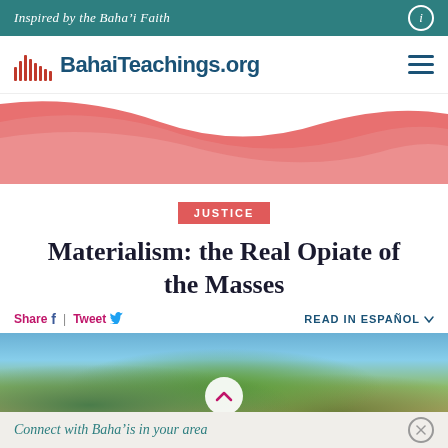Inspired by the Baha'i Faith
[Figure (logo): BahaiTeachings.org logo with vertical bar icon]
[Figure (illustration): Pink/salmon wave decorative banner]
JUSTICE
Materialism: the Real Opiate of the Masses
Share | Tweet  READ IN ESPAÑOL
[Figure (photo): Street photo with palm trees, blue sky, and buildings]
Connect with Baha'is in your area